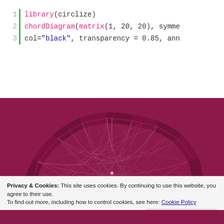1  library(circlize)
2  chordDiagram(matrix(1, 20, 20), symme
3  col="black", transparency = 0.85, ann
[Figure (illustration): A chord diagram rendered using R's circlize library, showing a semi-circular arrangement of ribbon-like chords in pink/white against a dark magenta/crimson background.]
Privacy & Cookies: This site uses cookies. By continuing to use this website, you agree to their use.
To find out more, including how to control cookies, see here: Cookie Policy